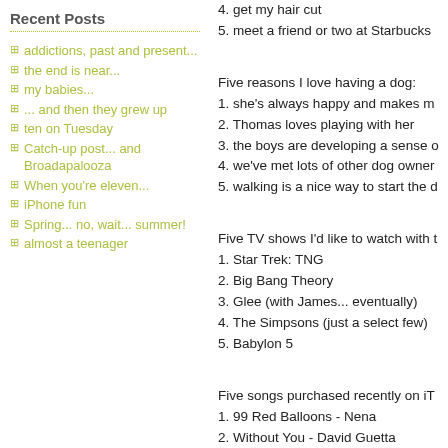Recent Posts
addictions, past and present...
the end is near...
my babies...
... and then they grew up
ten on Tuesday
Catch-up post... and Broadapalooza
When you're eleven...
iPhone fun
Spring... no, wait... summer!
almost a teenager
4. get my hair cut
5. meet a friend or two at Starbucks
Five reasons I love having a dog:
1. she's always happy and makes m
2. Thomas loves playing with her
3. the boys are developing a sense o
4. we've met lots of other dog owner
5. walking is a nice way to start the d
Five TV shows I'd like to watch with t
1. Star Trek: TNG
2. Big Bang Theory
3. Glee (with James... eventually)
4. The Simpsons (just a select few)
5. Babylon 5
Five songs purchased recently on iT
1. 99 Red Balloons - Nena
2. Without You - David Guetta
3. What the Hell - Avril Lavigne
4. Mrs. Robinson - The Lemonheads
5. Raise a Little Hell - Trooper
Five things on my To Bake list:
1. chocolate chip cookies
2. banana muffins